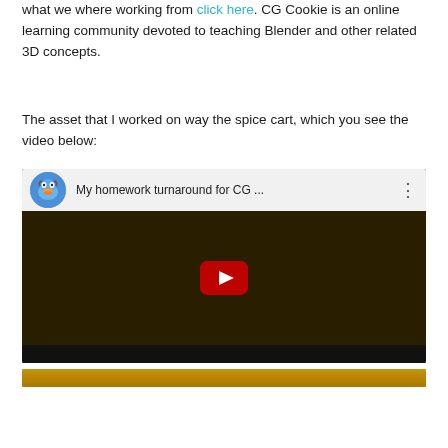what we where working from click here. CG Cookie is an online learning community devoted to teaching Blender and other related 3D concepts.
The asset that I worked on way the spice cart, which you see the video below:
[Figure (screenshot): YouTube video embed showing 'My homework turnaround for CG ...' with a 3D rendered spice cart (wooden cart with large wheels) on a dark background, with YouTube play button overlay.]
[Figure (other): Bottom golden/amber colored strip, partial view of next section.]